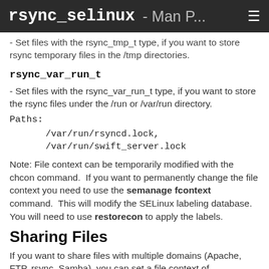rsync_selinux - Man P... ≡
- Set files with the rsync_tmp_t type, if you want to store rsync temporary files in the /tmp directories.
rsync_var_run_t
- Set files with the rsync_var_run_t type, if you want to store the rsync files under the /run or /var/run directory.
Paths:
        /var/run/rsyncd.lock, /var/run/swift_server.lock
Note: File context can be temporarily modified with the chcon command.  If you want to permanently change the file context you need to use the semanage fcontext command.  This will modify the SELinux labeling database.  You will need to use restorecon to apply the labels.
Sharing Files
If you want to share files with multiple domains (Apache, FTP, rsync, Samba), you can set a file context of